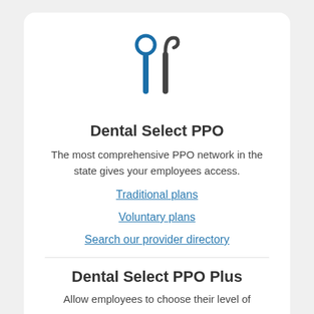[Figure (illustration): Two dental tools icons: a mouth mirror (circle on handle, blue) and a dental explorer/scaler (curved hook, dark gray)]
Dental Select PPO
The most comprehensive PPO network in the state gives your employees access.
Traditional plans
Voluntary plans
Search our provider directory
Dental Select PPO Plus
Allow employees to choose their level of